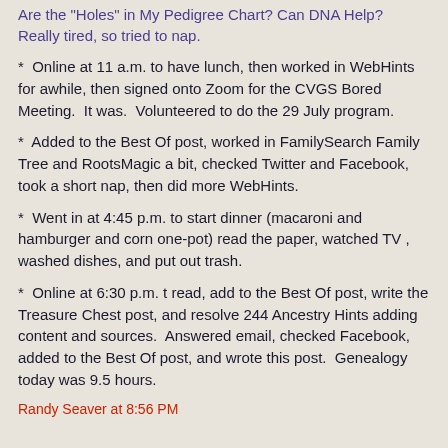Are the "Holes" in My Pedigree Chart? Can DNA Help? Really tired, so tried to nap.
*  Online at 11 a.m. to have lunch, then worked in WebHints for awhile, then signed onto Zoom for the CVGS Bored Meeting.  It was.  Volunteered to do the 29 July program.
*  Added to the Best Of post, worked in FamilySearch Family Tree and RootsMagic a bit, checked Twitter and Facebook, took a short nap, then did more WebHints.
*  Went in at 4:45 p.m. to start dinner (macaroni and hamburger and corn one-pot) read the paper, watched TV , washed dishes, and put out trash.
*  Online at 6:30 p.m. t read, add to the Best Of post, write the Treasure Chest post, and resolve 244 Ancestry Hints adding content and sources.  Answered email, checked Facebook, added to the Best Of post, and wrote this post.  Genealogy today was 9.5 hours.
Randy Seaver at 8:56 PM